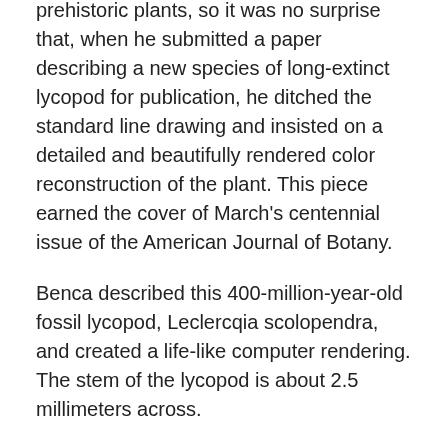prehistoric plants, so it was no surprise that, when he submitted a paper describing a new species of long-extinct lycopod for publication, he ditched the standard line drawing and insisted on a detailed and beautifully rendered color reconstruction of the plant. This piece earned the cover of March's centennial issue of the American Journal of Botany.
Benca described this 400-million-year-old fossil lycopod, Leclercqia scolopendra, and created a life-like computer rendering. The stem of the lycopod is about 2.5 millimeters across.
“Typically, when you see pictures of early land plants, they're not that sexy: there is a green forking stick and that's about it. We don't have many thorough reconstructions,” said Benca, a graduate student in the Department of Integrative Biology and Museum of Paleontology at UC Berkeley. “I wanted to give an